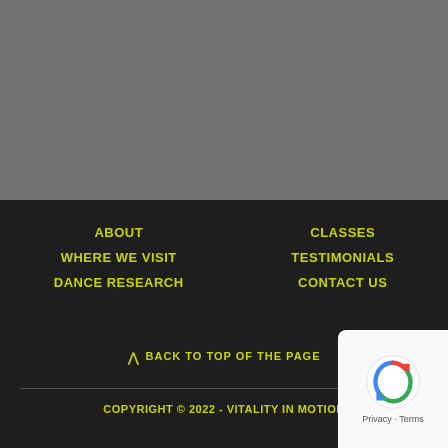[Figure (photo): Gray background section occupying the top portion of the page]
ABOUT
WHERE WE VISIT
DANCE RESEARCH
CLASSES
TESTIMONIALS
CONTACT US
^ BACK TO TOP OF THE PAGE
COPYRIGHT © 2022 - VITALITY IN MOTION